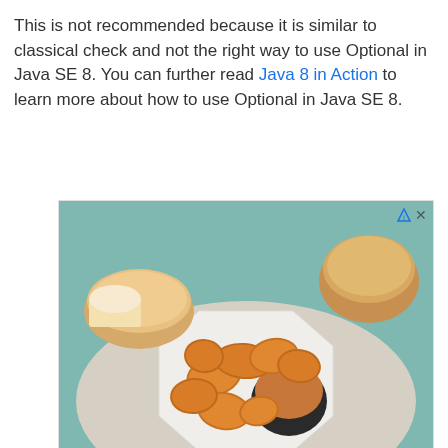This is not recommended because it is similar to classical check and not the right way to use Optional in Java SE 8. You can further read Java 8 in Action to learn more about how to use Optional in Java SE 8.
[Figure (photo): Advertisement showing fried chicken nuggets on a white octagonal plate with dipping sauce, with bread rolls in the background on a teal surface. Ad for Pollo Campero / Podemos Entregar.]